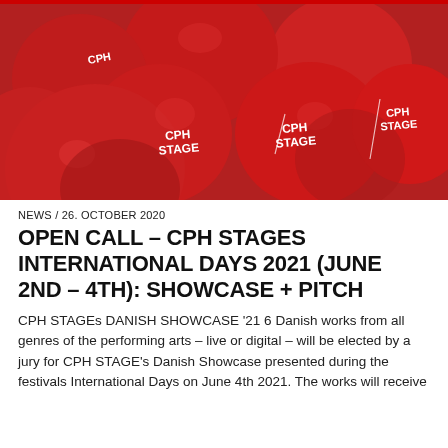[Figure (photo): Cluster of red balloons with 'CPH STAGE' printed on them in white text]
NEWS / 26. OCTOBER 2020
OPEN CALL – CPH STAGES INTERNATIONAL DAYS 2021 (JUNE 2ND – 4TH): SHOWCASE + PITCH
CPH STAGEs DANISH SHOWCASE '21 6 Danish works from all genres of the performing arts – live or digital – will be elected by a jury for CPH STAGE's Danish Showcase presented during the festivals International Days on June 4th 2021. The works will receive